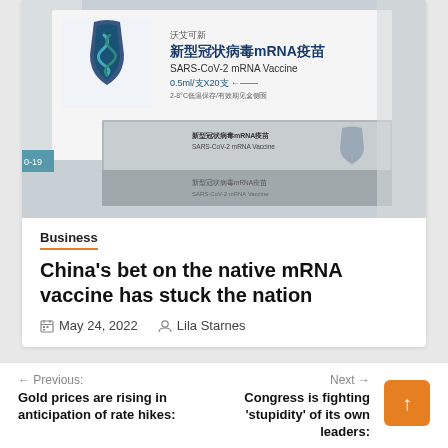[Figure (photo): Boxes of Chinese SARS-CoV-2 mRNA Vaccine (新型冠状病毒mRNA疫苗) labeled 0.5ml/支X20支, with a shield logo, displayed on a white surface.]
Business
China's bet on the native mRNA vaccine has stuck the nation
May 24, 2022   Lila Starnes
← Previous:
Gold prices are rising in anticipation of rate hikes:
Next →
Congress is fighting 'stupidity' of its own leaders: